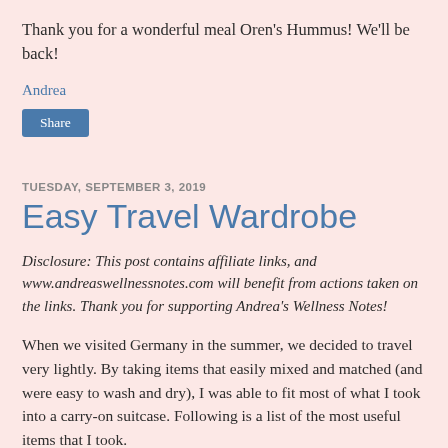Thank you for a wonderful meal Oren's Hummus! We'll be back!
Andrea
Share
TUESDAY, SEPTEMBER 3, 2019
Easy Travel Wardrobe
Disclosure: This post contains affiliate links, and www.andreaswellnessnotes.com will benefit from actions taken on the links. Thank you for supporting Andrea's Wellness Notes!
When we visited Germany in the summer, we decided to travel very lightly. By taking items that easily mixed and matched (and were easy to wash and dry), I was able to fit most of what I took into a carry-on suitcase. Following is a list of the most useful items that I took.